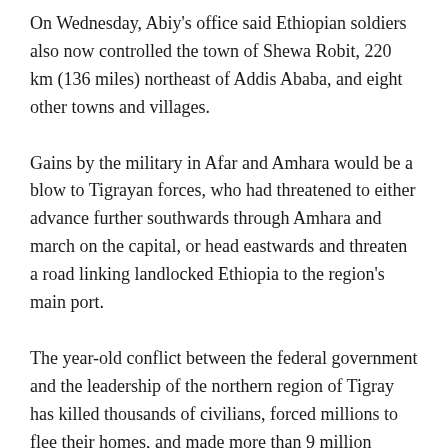On Wednesday, Abiy's office said Ethiopian soldiers also now controlled the town of Shewa Robit, 220 km (136 miles) northeast of Addis Ababa, and eight other towns and villages.
Gains by the military in Afar and Amhara would be a blow to Tigrayan forces, who had threatened to either advance further southwards through Amhara and march on the capital, or head eastwards and threaten a road linking landlocked Ethiopia to the region's main port.
The year-old conflict between the federal government and the leadership of the northern region of Tigray has killed thousands of civilians, forced millions to flee their homes, and made more than 9 million people dependent on food aid.
A resident in the village of Gragne Amba, 25 km (15 miles)